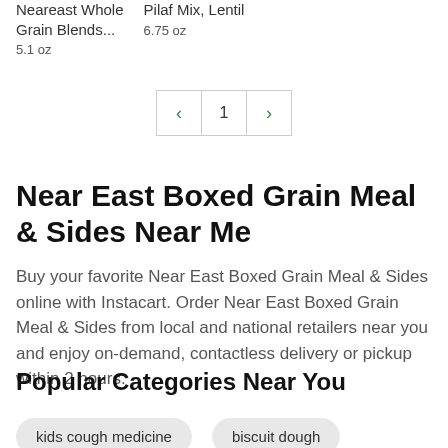Neareast Whole Grain Blends...
5.1 oz
Pilaf Mix, Lentil
6.75 oz
[Figure (other): Pagination control with left arrow, page number 1, and right arrow]
Near East Boxed Grain Meal & Sides Near Me
Buy your favorite Near East Boxed Grain Meal & Sides online with Instacart. Order Near East Boxed Grain Meal & Sides from local and national retailers near you and enjoy on-demand, contactless delivery or pickup within 2 hours.
Popular Categories Near You
kids cough medicine
biscuit dough